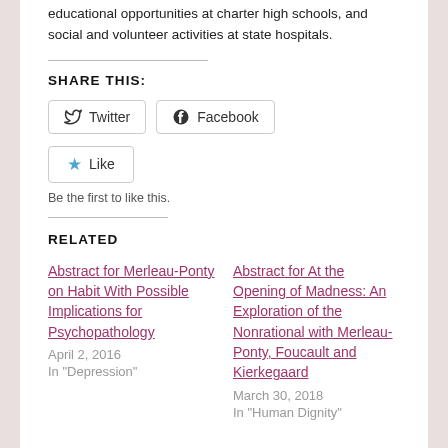educational opportunities at charter high schools, and social and volunteer activities at state hospitals.
SHARE THIS:
Twitter  Facebook
Like
Be the first to like this.
RELATED
Abstract for Merleau-Ponty on Habit With Possible Implications for Psychopathology
April 2, 2016
In "Depression"
Abstract for At the Opening of Madness: An Exploration of the Nonrational with Merleau-Ponty, Foucault and Kierkegaard
March 30, 2018
In "Human Dignity"